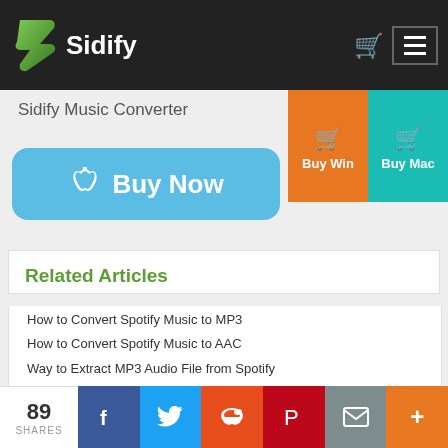Sidify
Sidify Music Converter
[Figure (other): Buy Win button (orange) and Buy Mac button (teal) with shopping cart icons]
[Figure (other): Buy Now button (blue, Apple logo) for Mac]
Related Articles
How to Convert Spotify Music to MP3
How to Convert Spotify Music to AAC
Way to Extract MP3 Audio File from Spotify
YouTube Premium: Is It Worthy of Your
89 SHARES | Facebook | Twitter | Reddit | Pinterest | Email | +